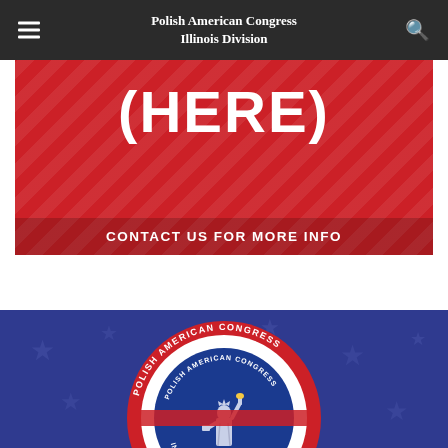Polish American Congress Illinois Division
[Figure (infographic): Red banner with diagonal stripe pattern showing '(HERE)' text in white and 'CONTACT US FOR MORE INFO' at bottom]
[Figure (logo): Polish American Congress Illinois Division circular seal with Statue of Liberty, red and blue colors, Incorporated 1944]